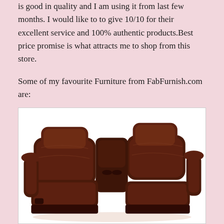is good in quality and I am using it from last few months. I would like to to give 10/10 for their excellent service and 100% authentic products.Best price promise is what attracts me to shop from this store.
Some of my favourite Furniture from FabFurnish.com are:
[Figure (photo): A dark brown leather recliner loveseat with two seats and a center console with cup holders. The furniture has padded headrests and armrests.]